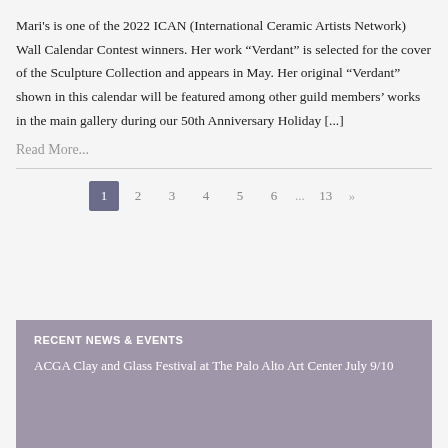Mari's is one of the 2022 ICAN (International Ceramic Artists Network) Wall Calendar Contest winners. Her work “Verdant” is selected for the cover of the Sculpture Collection and appears in May. Her original “Verdant” shown in this calendar will be featured among other guild members' works in the main gallery during our 50th Anniversary Holiday [...]
Read More...
1  2  3  4  5  6  ...  13  »
RECENT NEWS & EVENTS
ACGA Clay and Glass Festival at The Palo Alto Art Center July 9/10